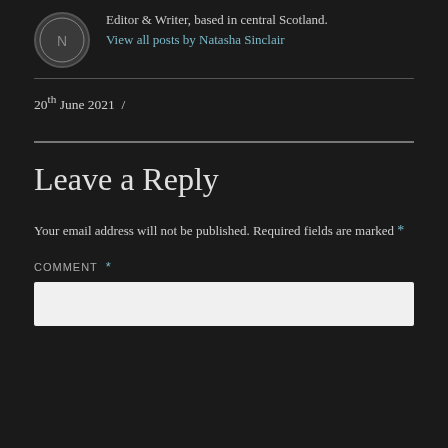Editor & Writer, based in central Scotland.
View all posts by Natasha Sinclair
20th June 2021  /
Leave a Reply
Your email address will not be published. Required fields are marked *
COMMENT *